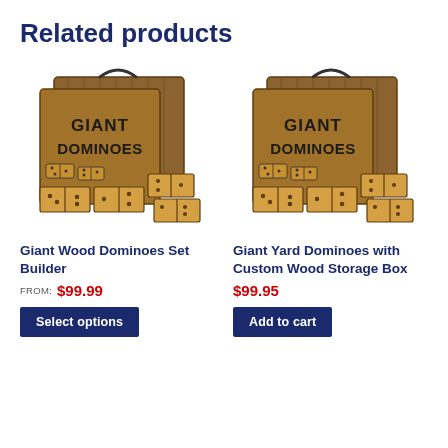Related products
[Figure (photo): Giant Wood Dominoes Set Builder product photo: wooden box with 'GIANT DOMINOES' text and domino pieces in front]
Giant Wood Dominoes Set Builder
FROM: $99.99
Select options
[Figure (photo): Giant Yard Dominoes with Custom Wood Storage Box product photo: wooden box with 'GIANT DOMINOES' text and domino pieces in front]
Giant Yard Dominoes with Custom Wood Storage Box
$99.95
Add to cart